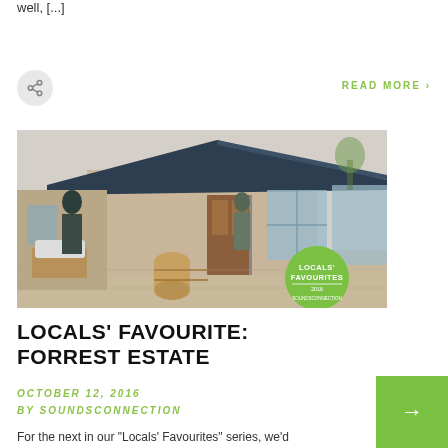well, [...]
[Figure (other): Share button icon - circular grey button with share symbol]
READ MORE ›
[Figure (photo): Photo of Forrest Estate winery building exterior with wooden furniture, barrels, and a green 'Locals Favourites' badge overlay]
LOCALS' FAVOURITE: FORREST ESTATE
OCTOBER 12, 2016
BY SOUNDSCONNECTION
For the next in our "Locals' Favourites" series, we'd